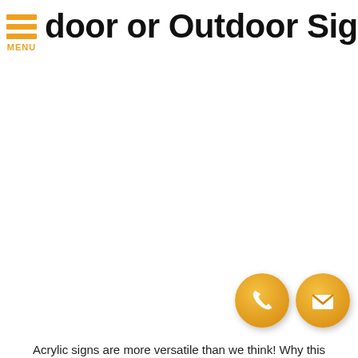Indoor or Outdoor Signs
[Figure (illustration): Phone icon in orange circle and envelope/mail icon in orange circle]
Acrylic signs are more versatile than we think! Why this